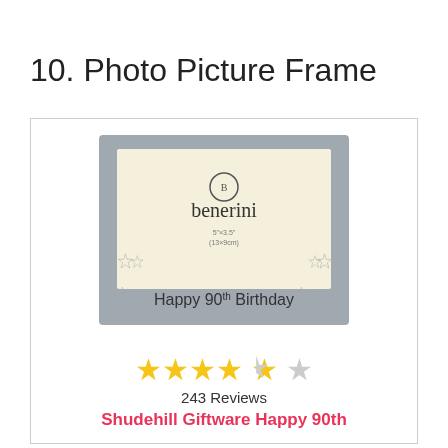10. Photo Picture Frame
[Figure (photo): Silver photo picture frame with 'Happy 90th Birthday' text and star decorations, benerini brand, 5x3.5 inch (13x9cm)]
★★★★★ (4.5 stars) 243 Reviews
Shudehill Giftware Happy 90th